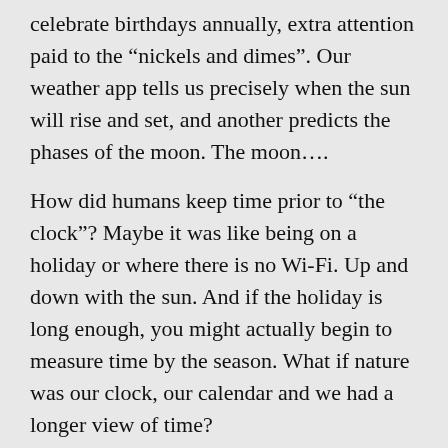celebrate birthdays annually, extra attention paid to the “nickels and dimes”. Our weather app tells us precisely when the sun will rise and set, and another predicts the phases of the moon. The moon….
How did humans keep time prior to “the clock”? Maybe it was like being on a holiday or where there is no Wi-Fi. Up and down with the sun. And if the holiday is long enough, you might actually begin to measure time by the season. What if nature was our clock, our calendar and we had a longer view of time?
It was July, the moon when chokecherries fall off the branch, at sunrise.  I was the first out of the teepee, or so I thought, at the annual Kainai Sundance on the Blood Reserve. A voice called